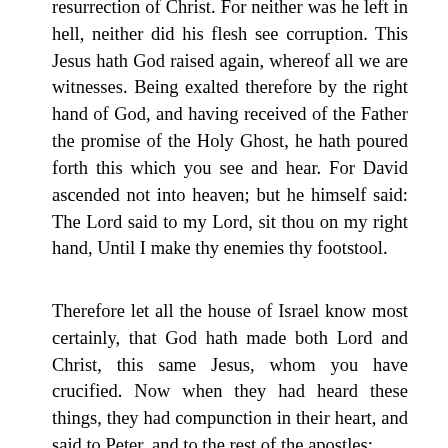resurrection of Christ. For neither was he left in hell, neither did his flesh see corruption. This Jesus hath God raised again, whereof all we are witnesses. Being exalted therefore by the right hand of God, and having received of the Father the promise of the Holy Ghost, he hath poured forth this which you see and hear. For David ascended not into heaven; but he himself said: The Lord said to my Lord, sit thou on my right hand, Until I make thy enemies thy footstool.
Therefore let all the house of Israel know most certainly, that God hath made both Lord and Christ, this same Jesus, whom you have crucified. Now when they had heard these things, they had compunction in their heart, and said to Peter, and to the rest of the apostles;